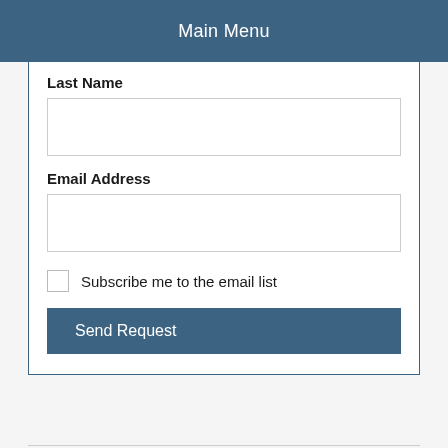Main Menu
Last Name
Email Address
Subscribe me to the email list
Send Request
All information © Oxford Lieder 2022

Oxford Lieder Limited is a company limited by guarantee. Registered Office: Oxford Lieder, 37 Fairacres Road, Oxford